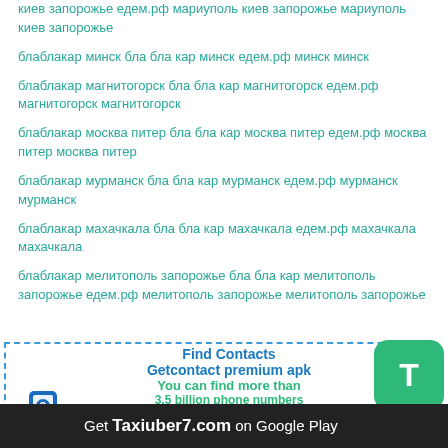киев запорожье едем.рф мариуполь киев запорожье мариуполь киев запорожье
блаблакар минск бла бла кар минск едем.рф минск минск
блаблакар магнитогорск бла бла кар магнитогорск едем.рф магнитогорск магнитогорск
блаблакар москва питер бла бла кар москва питер едем.рф москва питер москва питер
блаблакар мурманск бла бла кар мурманск едем.рф мурманск мурманск
блаблакар махачкала бла бла кар махачкала едем.рф махачкала махачкала
блаблакар мелитополь запорожье бла бла кар мелитополь запорожье едем.рф мелитополь запорожье мелитополь запорожье
[Figure (infographic): App promotion banner with dashed border, green T button, phone icon, Find Contacts / Getcontact premium apk text, and Get Taxiuber7.com on Google Play bottom bar]